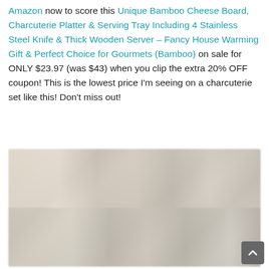Amazon now to score this Unique Bamboo Cheese Board, Charcuterie Platter & Serving Tray Including 4 Stainless Steel Knife & Thick Wooden Server – Fancy House Warming Gift & Perfect Choice for Gourmets (Bamboo) on sale for ONLY $23.97 (was $43) when you clip the extra 20% OFF coupon! This is the lowest price I'm seeing on a charcuterie set like this! Don't miss out!
[Figure (photo): Blurred product image of the Unique Bamboo Cheese Board / Charcuterie Platter set, shown from multiple angles on what appears to be an Amazon product listing page.]